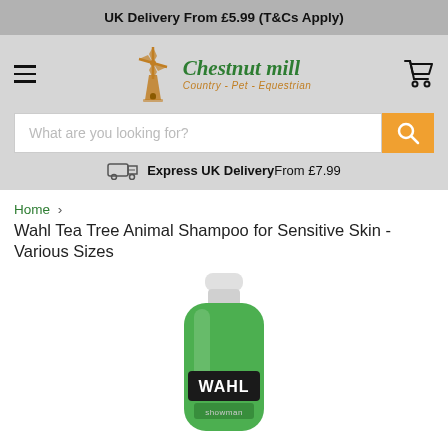UK Delivery From £5.99 (T&Cs Apply)
[Figure (logo): Chestnut Mill logo with windmill icon and text 'Country - Pet - Equestrian']
What are you looking for?
Express UK Delivery From £7.99
Home › Wahl Tea Tree Animal Shampoo for Sensitive Skin - Various Sizes
[Figure (photo): Green bottle of Wahl animal shampoo product]